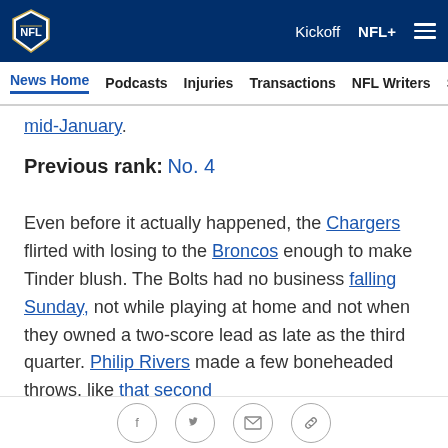NFL logo | Kickoff | NFL+ | menu
News Home | Podcasts | Injuries | Transactions | NFL Writers | Se...
mid-January.
Previous rank: No. 4
Even before it actually happened, the Chargers flirted with losing to the Broncos enough to make Tinder blush. The Bolts had no business falling Sunday, not while playing at home and not when they owned a two-score lead as late as the third quarter. Philip Rivers made a few boneheaded throws, like that second
Social share icons: Facebook, Twitter, Email, Link